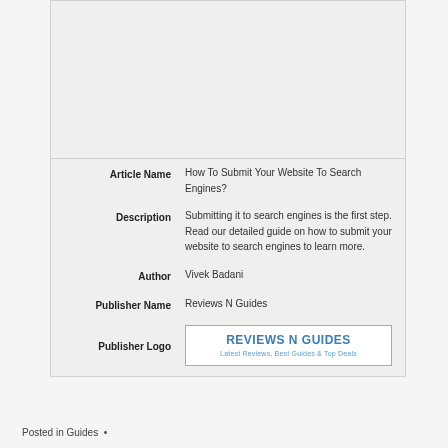[Figure (logo): Submit Your Website To Search Engine banner image with light blue background]
| Article Name | How To Submit Your Website To Search Engines? |
| Description | Submitting it to search engines is the first step. Read our detailed guide on how to submit your website to search engines to learn more. |
| Author | Vivek Badani |
| Publisher Name | Reviews N Guides |
| Publisher Logo | REVIEWS N GUIDES – Latest Reviews, Best Guides & Top Deals |
Posted in Guides •